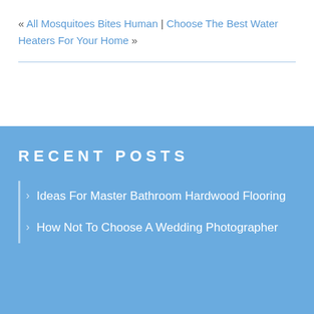« All Mosquitoes Bites Human | Choose The Best Water Heaters For Your Home »
RECENT POSTS
Ideas For Master Bathroom Hardwood Flooring
How Not To Choose A Wedding Photographer